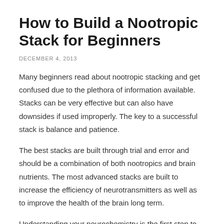How to Build a Nootropic Stack for Beginners
DECEMBER 4, 2013
Many beginners read about nootropic stacking and get confused due to the plethora of information available. Stacks can be very effective but can also have downsides if used improperly. The key to a successful stack is balance and patience.
The best stacks are built through trial and error and should be a combination of both nootropics and brain nutrients. The most advanced stacks are built to increase the efficiency of neurotransmitters as well as to improve the health of the brain long term.
Understanding your neurochemistry is the first step to